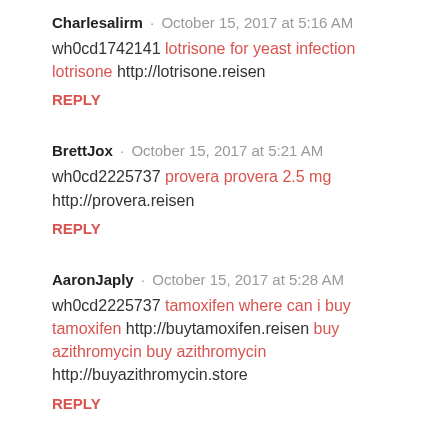Charlesalirm · October 15, 2017 at 5:16 AM
wh0cd1742141 lotrisone for yeast infection lotrisone http://lotrisone.reisen
REPLY
BrettJox · October 15, 2017 at 5:21 AM
wh0cd2225737 provera provera 2.5 mg http://provera.reisen
REPLY
AaronJaply · October 15, 2017 at 5:28 AM
wh0cd2225737 tamoxifen where can i buy tamoxifen http://buytamoxifen.reisen buy azithromycin buy azithromycin http://buyazithromycin.store
REPLY